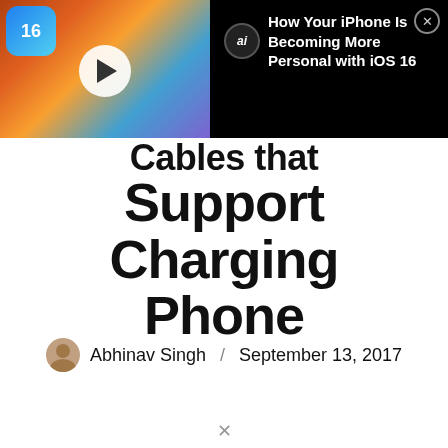[Figure (screenshot): Advertisement banner for iOS 16 article: 'How Your iPhone Is Becoming More Personal with iOS 16', with thumbnail image of Apple devices on left and text on black background on right, with close button]
Support Charging Phone
Abhinav Singh / September 13, 2017